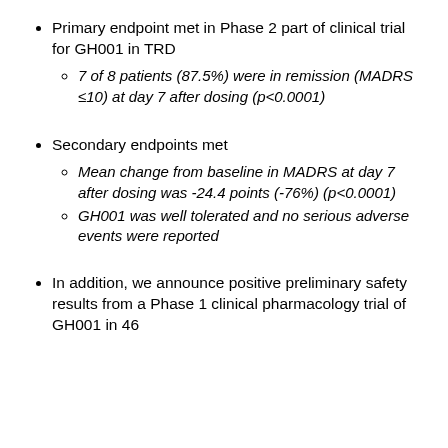Primary endpoint met in Phase 2 part of clinical trial for GH001 in TRD
7 of 8 patients (87.5%) were in remission (MADRS ≤10) at day 7 after dosing (p<0.0001)
Secondary endpoints met
Mean change from baseline in MADRS at day 7 after dosing was -24.4 points (-76%) (p<0.0001)
GH001 was well tolerated and no serious adverse events were reported
In addition, we announce positive preliminary safety results from a Phase 1 clinical pharmacology trial of GH001 in 46